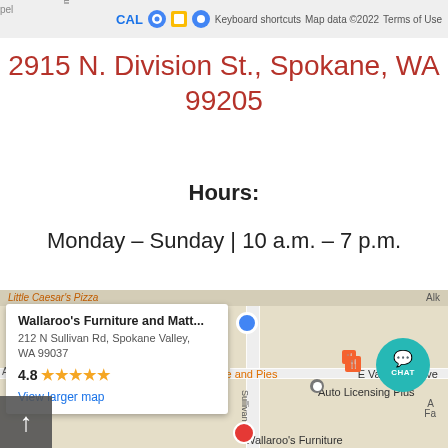[Figure (screenshot): Top strip of a Google Maps screenshot showing map attribution bar with 'CAL', keyboard shortcuts, map data copyright 2022, and Terms of Use labels]
2915 N. Division St., Spokane, WA 99205
Hours:
Monday – Sunday | 10 a.m. – 7 p.m.
[Figure (screenshot): Google Maps embedded map showing Wallaroo's Furniture and Matt... popup with address 212 N Sullivan Rd, Spokane Valley, WA 99037, rating 4.8 stars, View larger map link. Map also shows Shari's Cafe and Pies, Mister Car Wash, Auto Licensing Plus, E Valleyway Ave, Sullivan Rd. A teal CHAT button appears on the right. A back-to-top arrow button is at lower left. Wallaroo's Furniture marker visible at bottom.]